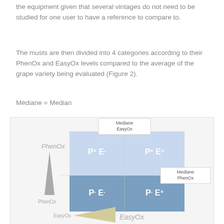the equipment given that several vintages do not need to be studied for one user to have a reference to compare to.
The musts are then divided into 4 categories according to their PhenOx and EasyOx levels compared to the average of the grape variety being evaluated (Figure 2).
Médiane = Median
[Figure (infographic): A 2×2 quadrant diagram showing categories P- E-, P- E+, P+ E-, P+ E+ based on PhenOx and EasyOx medians. Axes are PhenOx (vertical, with triangle) and EasyOx (horizontal, with triangle). Median lines labeled 'Mediane EasyOx' (top) and 'Mediane PhenOx' (right). Upper quadrants are light blue, lower quadrants are medium blue. Labels in white text.]